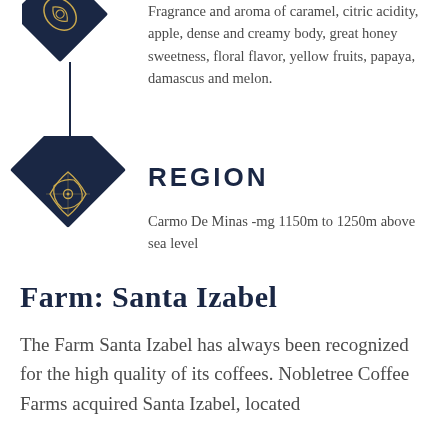[Figure (illustration): Dark navy blue diamond shape icon with golden coffee/map outline at top, partially cropped]
Fragrance and aroma of caramel, citric acidity, apple, dense and creamy body, great honey sweetness, floral flavor, yellow fruits, papaya, damascus and melon.
[Figure (illustration): Dark navy blue diamond shape icon with golden map/region outline illustration]
REGION
Carmo De Minas -mg 1150m to 1250m above sea level
Farm: Santa Izabel
The Farm Santa Izabel has always been recognized for the high quality of its coffees. Nobletree Coffee Farms acquired Santa Izabel, located